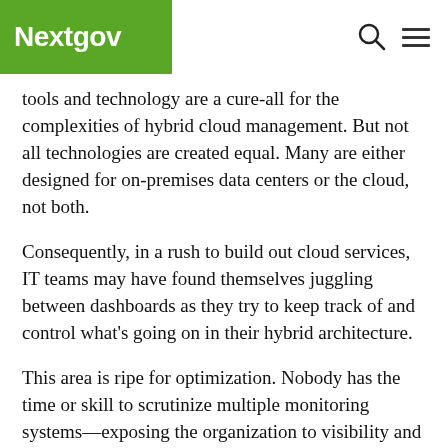Nextgov
tools and technology are a cure-all for the complexities of hybrid cloud management. But not all technologies are created equal. Many are either designed for on-premises data centers or the cloud, not both.
Consequently, in a rush to build out cloud services, IT teams may have found themselves juggling between dashboards as they try to keep track of and control what's going on in their hybrid architecture.
This area is ripe for optimization. Nobody has the time or skill to scrutinize multiple monitoring systems—exposing the organization to visibility and potential security gaps. IT leaders must prioritize a plan to control the complexities of monitoring hybrid environments with an integrated, holistic view of overall health, performance and security across the network, databases and applications.